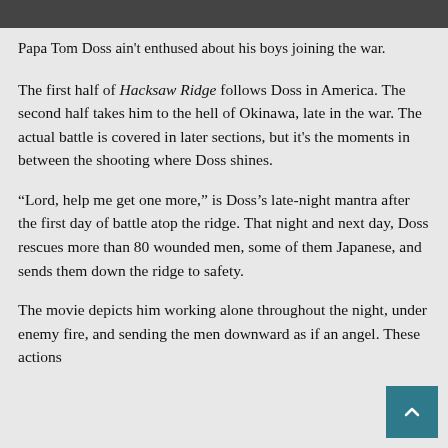[Figure (photo): Top portion of a photo, likely showing characters from the film Hacksaw Ridge]
Papa Tom Doss ain't enthused about his boys joining the war.
The first half of Hacksaw Ridge follows Doss in America. The second half takes him to the hell of Okinawa, late in the war. The actual battle is covered in later sections, but it's the moments in between the shooting where Doss shines.
“Lord, help me get one more,” is Doss’s late-night mantra after the first day of battle atop the ridge. That night and next day, Doss rescues more than 80 wounded men, some of them Japanese, and sends them down the ridge to safety.
The movie depicts him working alone throughout the night, under enemy fire, and sending the men downward as if an angel. These actions